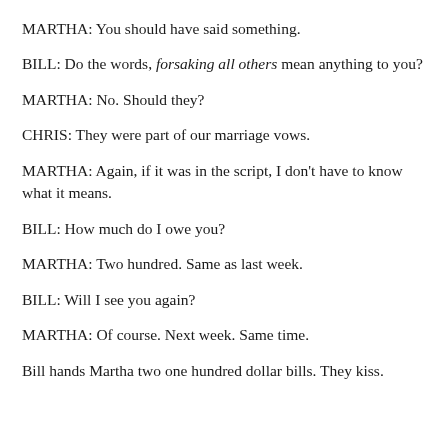MARTHA: You should have said something.
BILL: Do the words, forsaking all others mean anything to you?
MARTHA: No. Should they?
CHRIS: They were part of our marriage vows.
MARTHA: Again, if it was in the script, I don't have to know what it means.
BILL: How much do I owe you?
MARTHA: Two hundred. Same as last week.
BILL: Will I see you again?
MARTHA: Of course. Next week. Same time.
Bill hands Martha two one hundred dollar bills. They kiss.